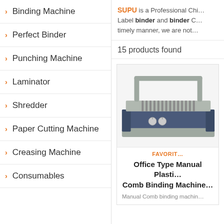Binding Machine
Perfect Binder
Punching Machine
Laminator
Shredder
Paper Cutting Machine
Creasing Machine
Consumables
SUPU is a Professional Chi... Label binder and binder C... timely manner, we are not...
15 products found
[Figure (photo): A manual comb binding machine with a gray metal frame and dark blue base, showing punching pins and a handle on top.]
FAVORITE
Office Type Manual Plastic Comb Binding Machine
Manual Comb binding machin...